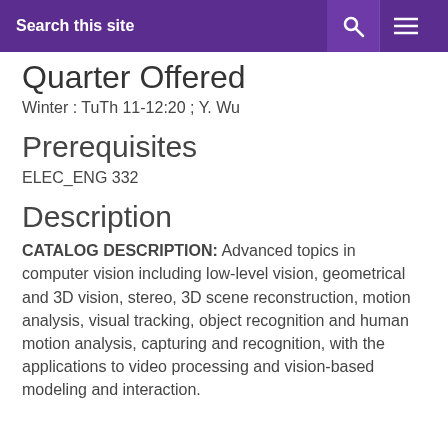Search this site
Quarter Offered
Winter : TuTh 11-12:20 ; Y. Wu
Prerequisites
ELEC_ENG 332
Description
CATALOG DESCRIPTION: Advanced topics in computer vision including low-level vision, geometrical and 3D vision, stereo, 3D scene reconstruction, motion analysis, visual tracking, object recognition and human motion analysis, capturing and recognition, with the applications to video processing and vision-based modeling and interaction.